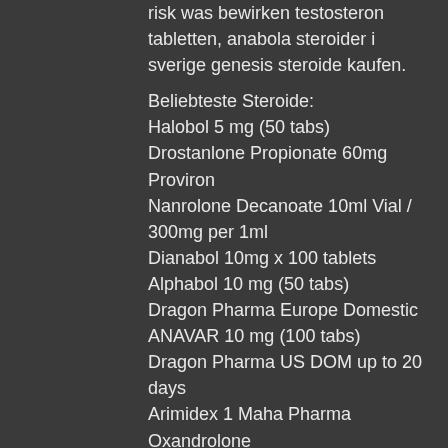risk was bewirken testosteron tabletten, anabola steroider i sverige genesis steroide kaufen.
Beliebteste Steroide:
Halobol 5 mg (50 tabs)
Drostanlone Propionate 60mg
Proviron
Nanrolone Decanoate 10ml Vial / 300mg per 1ml
Dianabol 10mg x 100 tablets
Alphabol 10 mg (50 tabs)
Dragon Pharma Europe Domestic
ANAVAR 10 mg (100 tabs)
Dragon Pharma US DOM up to 20 days
Arimidex 1 Maha Pharma
Oxandrolone
Mastoral 10 mg (50 tabs)
Deca durabolin 250mg/ml x 10ml
Maha Pharma
Virigen Testocaps 40 mg (30 caps)
Anadrol 50mg x 100 tablets